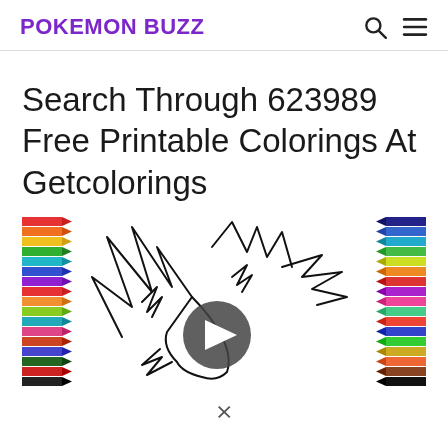POKEMON BUZZ
Search Through 623989 Free Printable Colorings At Getcolorings
[Figure (screenshot): Video thumbnail showing a Pokemon (Jolteon-like) line drawing coloring page with colored pencil borders on left and right, and a play button in the center]